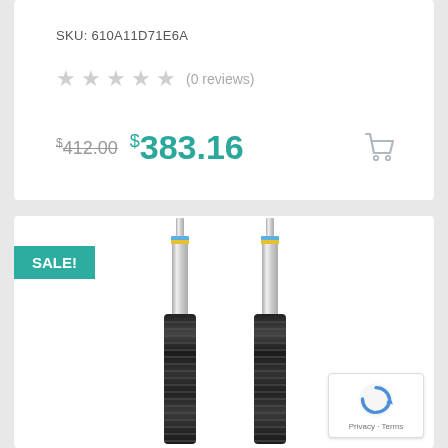SKU: 610A11D71E6A
★★★★★ (0 reviews)
$412.00 $383.16
[Figure (photo): Two shock absorber / suspension strut shafts with chrome upper portions and black threaded lower bodies, with blue/yellow label bands near the top. A teal SALE! badge is shown in the upper left corner of the product card.]
SALE!
Privacy · Terms